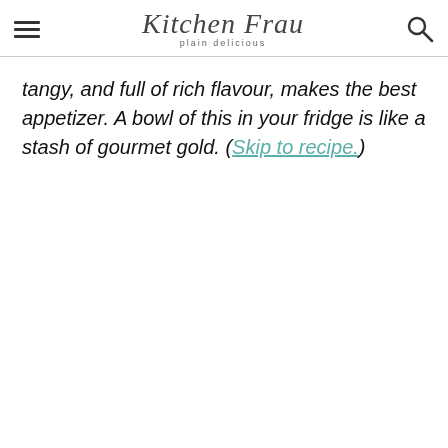Kitchen Frau plain delicious
tangy, and full of rich flavour, makes the best appetizer. A bowl of this in your fridge is like a stash of gourmet gold. (Skip to recipe.)